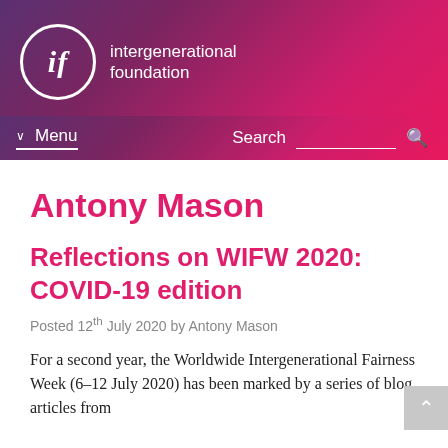[Figure (logo): Intergenerational Foundation logo: white circle with italic 'if' text, beside text 'intergenerational foundation' on gradient pink-purple background]
Menu   Search
Antony Mason
Reflections on WIFW 2020: COVID-19 edition
Posted 12th July 2020 by Antony Mason
For a second year, the Worldwide Intergenerational Fairness Week (6–12 July 2020) has been marked by a series of blog articles from